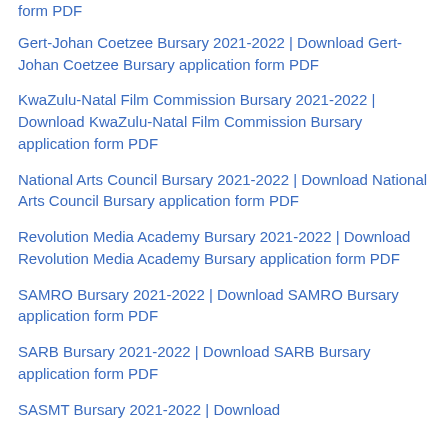form PDF
Gert-Johan Coetzee Bursary 2021-2022 | Download Gert-Johan Coetzee Bursary application form PDF
KwaZulu-Natal Film Commission Bursary 2021-2022 | Download KwaZulu-Natal Film Commission Bursary application form PDF
National Arts Council Bursary 2021-2022 | Download National Arts Council Bursary application form PDF
Revolution Media Academy Bursary 2021-2022 | Download Revolution Media Academy Bursary application form PDF
SAMRO Bursary 2021-2022 | Download SAMRO Bursary application form PDF
SARB Bursary 2021-2022 | Download SARB Bursary application form PDF
SASMT Bursary 2021-2022 | Download